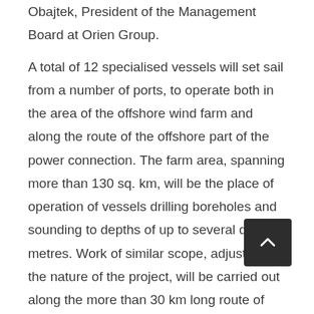Obajtek, President of the Management Board at Orien Group.
A total of 12 specialised vessels will set sail from a number of ports, to operate both in the area of the offshore wind farm and along the route of the offshore part of the power connection. The farm area, spanning more than 130 sq. km, will be the place of operation of vessels drilling boreholes and sounding to depths of up to several dozen metres. Work of similar scope, adjusted to the nature of the project, will be carried out along the more than 30 km long route of the cable connection to be used to export power to the onshore substation. The farm seabed tests are being performed for Baltic Power by the British company Gardline Limited, while Polish company Mewo is responsible for the